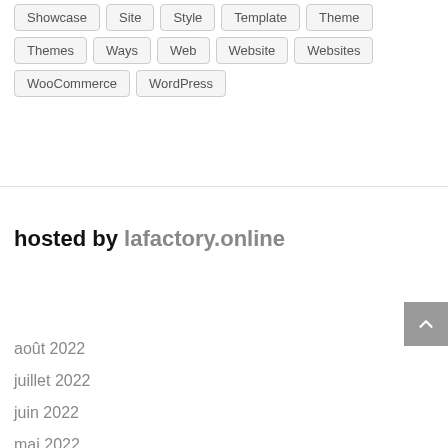Showcase
Site
Style
Template
Theme
Themes
Ways
Web
Website
Websites
WooCommerce
WordPress
hosted by lafactory.online
août 2022
juillet 2022
juin 2022
mai 2022